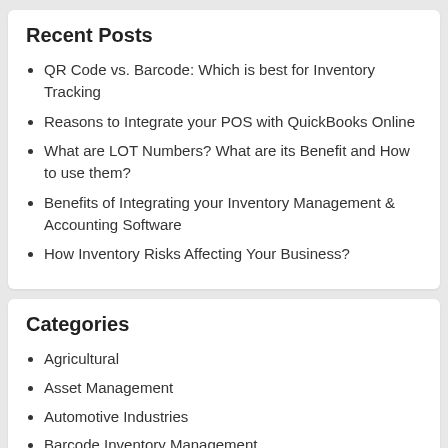Recent Posts
QR Code vs. Barcode: Which is best for Inventory Tracking
Reasons to Integrate your POS with QuickBooks Online
What are LOT Numbers? What are its Benefit and How to use them?
Benefits of Integrating your Inventory Management & Accounting Software
How Inventory Risks Affecting Your Business?
Categories
Agricultural
Asset Management
Automotive Industries
Barcode Inventory Management
Beverages Industry